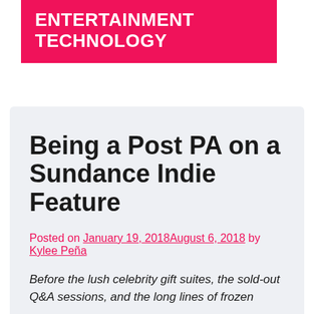ENTERTAINMENT TECHNOLOGY
Being a Post PA on a Sundance Indie Feature
Posted on January 19, 2018August 6, 2018 by Kylee Peña
Before the lush celebrity gift suites, the sold-out Q&A sessions, and the long lines of frozen...